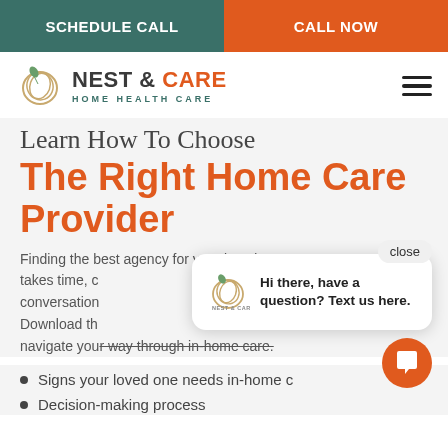SCHEDULE CALL | CALL NOW
[Figure (logo): Nest & Care Home Health Care logo with leaf/nest icon]
Learn How To Choose The Right Home Care Provider
Finding the best agency for your loved one takes time, conversations... Download the... navigate your way through in-home care.
[Figure (screenshot): Chat popup with Nest & Care logo: 'Hi there, have a question? Text us here.' with close button]
Signs your loved one needs in-home care
Decision-making process